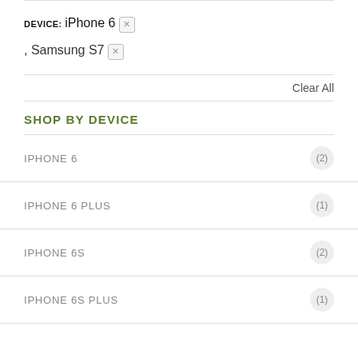DEVICE: iPhone 6
[x]
, Samsung S7
[x]
Clear All
SHOP BY DEVICE
IPHONE 6 (2)
IPHONE 6 PLUS (1)
IPHONE 6S (2)
IPHONE 6S PLUS (1)